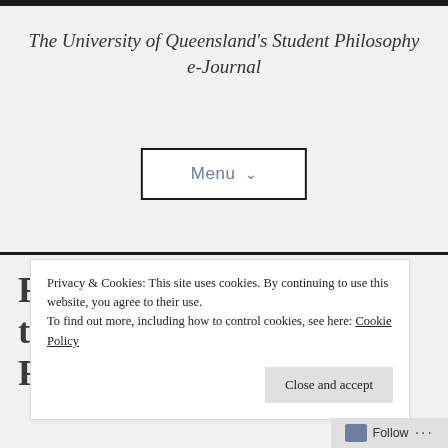The University of Queensland's Student Philosophy e-Journal
[Figure (other): Navigation menu button with dropdown chevron, bordered box reading 'Menu ∨']
Freedom and Resistance to Power: Reconciling Foucault
Privacy & Cookies: This site uses cookies. By continuing to use this website, you agree to their use. To find out more, including how to control cookies, see here: Cookie Policy
Close and accept
Follow